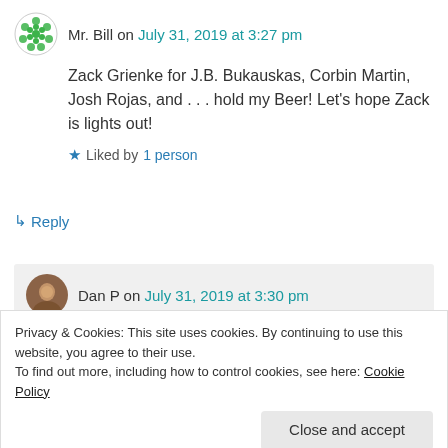Mr. Bill on July 31, 2019 at 3:27 pm
Zack Grienke for J.B. Bukauskas, Corbin Martin, Josh Rojas, and . . . hold my Beer! Let’s hope Zack is lights out!
Liked by 1 person
↳ Reply
Dan P on July 31, 2019 at 3:30 pm
Privacy & Cookies: This site uses cookies. By continuing to use this website, you agree to their use.
To find out more, including how to control cookies, see here: Cookie Policy